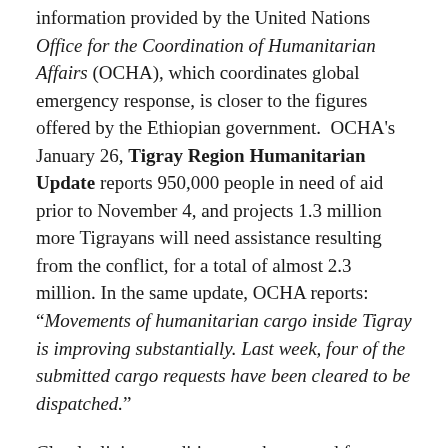information provided by the United Nations Office for the Coordination of Humanitarian Affairs (OCHA), which coordinates global emergency response, is closer to the figures offered by the Ethiopian government.  OCHA's January 26, Tigray Region Humanitarian Update reports 950,000 people in need of aid prior to November 4, and projects 1.3 million more Tigrayans will need assistance resulting from the conflict, for a total of almost 2.3 million. In the same update, OCHA reports: “Movements of humanitarian cargo inside Tigray is improving substantially. Last week, four of the submitted cargo requests have been cleared to be dispatched.”
Clearly, living conditions on the ground for millions of Tigrayans is deplorable. Food, non-